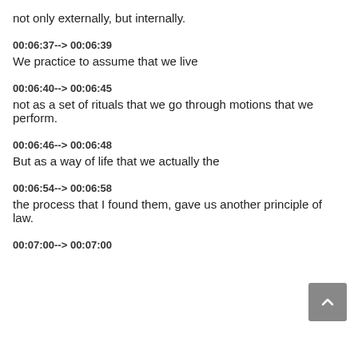not only externally, but internally.
00:06:37--> 00:06:39
We practice to assume that we live
00:06:40--> 00:06:45
not as a set of rituals that we go through motions that we perform.
00:06:46--> 00:06:48
But as a way of life that we actually the
00:06:54--> 00:06:58
the process that I found them, gave us another principle of law.
00:07:00--> 00:07:00